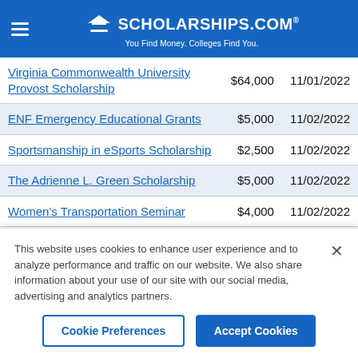SCHOLARSHIPS.COM® You Find Money. Colleges Find You.
| Scholarship Name | Amount | Deadline |
| --- | --- | --- |
| Virginia Commonwealth University Provost Scholarship | $64,000 | 11/01/2022 |
| ENF Emergency Educational Grants | $5,000 | 11/02/2022 |
| Sportsmanship in eSports Scholarship | $2,500 | 11/02/2022 |
| The Adrienne L. Green Scholarship | $5,000 | 11/02/2022 |
| Women's Transportation Seminar | $4,000 | 11/02/2022 |
This website uses cookies to enhance user experience and to analyze performance and traffic on our website. We also share information about your use of our site with our social media, advertising and analytics partners.
Cookie Preferences | Accept Cookies